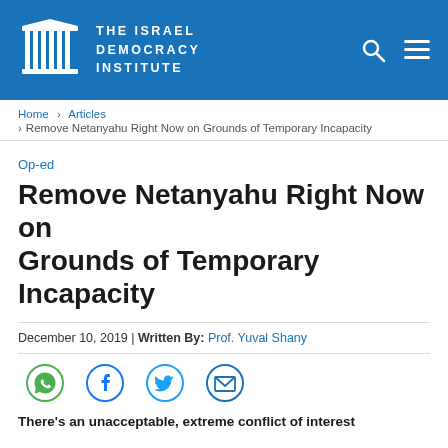THE ISRAEL DEMOCRACY INSTITUTE
Home > Articles > Remove Netanyahu Right Now on Grounds of Temporary Incapacity
Op-ed
Remove Netanyahu Right Now on Grounds of Temporary Incapacity
December 10, 2019 | Written By: Prof. Yuval Shany
[Figure (infographic): Social sharing icons: WhatsApp, Facebook, Twitter, Email]
There's an unacceptable, extreme conflict of interest